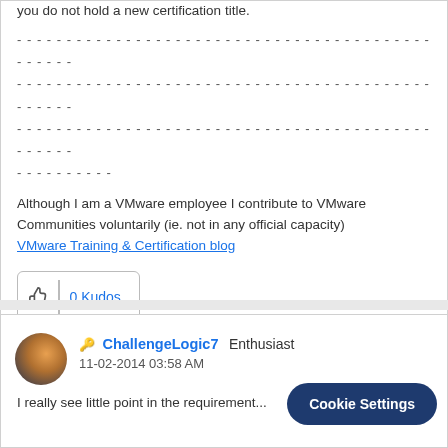you do not hold a new certification title.
- - - - - - - - - - - - - - - - - - - - - - - - - - - - - - - - - - - - - - - - - - - - - - - - - -
- - - - - - - - - - - - - - - - - - - - - - - - - - - - - - - - - - - - - - - - - - - - - - - - - -
- - - - - - - - - - - - - - - - - - - - - - - - - - - - - - - - - - - - - - - - - - - - - - - - - -
- - - - - - - - - -
Although I am a VMware employee I contribute to VMware Communities voluntarily (ie. not in any official capacity)
VMware Training & Certification blog
0 Kudos
Share
Reply
ChallengeLogic7  Enthusiast
11-02-2014 03:58 AM
I really see little point in the requirement...